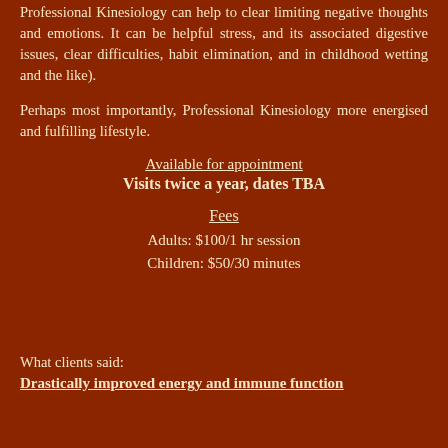Professional Kinesiology can help to clear limiting negative thoughts and emotions. It can be helpful for stress, and its associated digestive issues, clearing difficulties, habit elimination, and in childhood (bed wetting and the like).
Perhaps most importantly, Professional Kinesiology can help lead to a more energised and fulfilling lifestyle.
Available for appointment
Visits twice a year, dates TBA
Fees
Adults: $100/1 hr session
Children: $50/30 minutes
What clients said:
Drastically improved energy and immune function